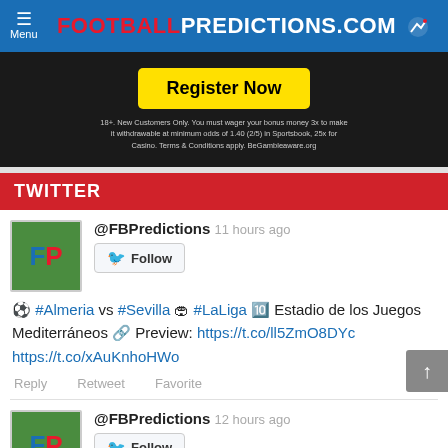FOOTBALLPREDICTIONS.COM
[Figure (screenshot): Advertisement banner with black background, yellow 'Register Now' button, and small disclaimer text about bonus wagering requirements]
TWITTER
@FBPredictions 11 hours ago
Follow
⚽ #Almeria vs #Sevilla 🏟 #LaLiga 🔟 Estadio de los Juegos Mediterráneos 🔗 Preview: https://t.co/ll5ZmO8DYc https://t.co/xAuKnhoHWo
Reply   Retweet   Favorite
@FBPredictions 12 hours ago
Follow